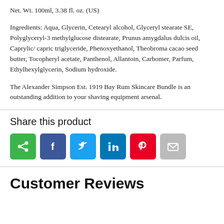Net. Wt. 100ml, 3.38 fl. oz. (US)
Ingredients: Aqua, Glycerin, Cetearyl alcohol, Glyceryl stearate SE, Polyglyceryl-3 methylglucose distearate, Prunus amygdalus dulcis oil, Caprylic/ capric triglyceride, Phenoxyethanol, Theobroma cacao seed butter, Tocopheryl acetate, Panthenol, Allantoin, Carbomer, Parfum, Ethylhexylglycerin, Sodium hydroxide.
The Alexander Simpson Est. 1919 Bay Rum Skincare Bundle is an outstanding addition to your shaving equipment arsenal.
Share this product
[Figure (infographic): Social share buttons: share (green), Facebook (blue), Twitter (light blue), LinkedIn (dark blue), Pinterest (red), Email (grey)]
Customer Reviews